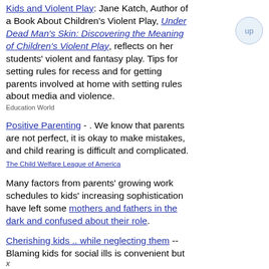Kids and Violent Play: Jane Katch, Author of a Book About Children's Violent Play, Under Dead Man's Skin: Discovering the Meaning of Children's Violent Play, reflects on her students' violent and fantasy play. Tips for setting rules for recess and for getting parents involved at home with setting rules about media and violence. Education World
Positive Parenting - . We know that parents are not perfect, it is okay to make mistakes, and child rearing is difficult and complicated. The Child Welfare League of America
Many factors from parents' growing work schedules to kids' increasing sophistication have left some mothers and fathers in the dark and confused about their role.
Cherishing kids .. while neglecting them -- Blaming kids for social ills is convenient but